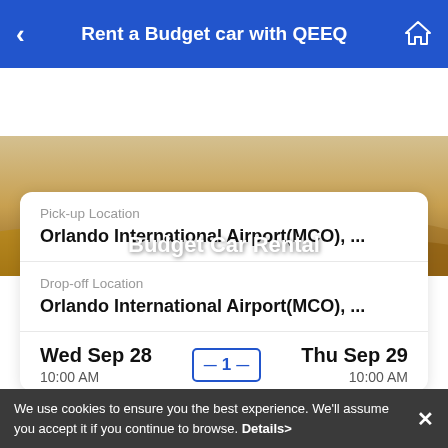Rent a Budget car with QEEQ
[Figure (photo): Desert dune landscape with SUV cars driving, banner image for Budget Car Rental]
Budget Car Rental
Pick-up Location
Orlando International Airport(MCO), ...
Drop-off Location
Orlando International Airport(MCO), ...
Wed Sep 28    1    Thu Sep 29
10:00 AM
10:00 AM
We use cookies to ensure you the best experience. We'll assume you accept it if you continue to browse. Details>